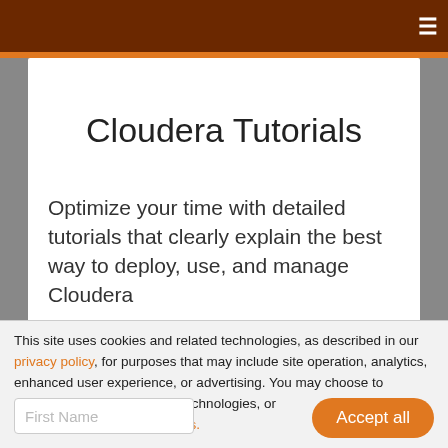Cloudera Tutorials (website header bar)
Cloudera Tutorials
Optimize your time with detailed tutorials that clearly explain the best way to deploy, use, and manage Cloudera
products. Login or register below to access all Cloudera tutorials.
This site uses cookies and related technologies, as described in our privacy policy, for purposes that may include site operation, analytics, enhanced user experience, or advertising. You may choose to consent to our use of these technologies, or manage your own preferences.